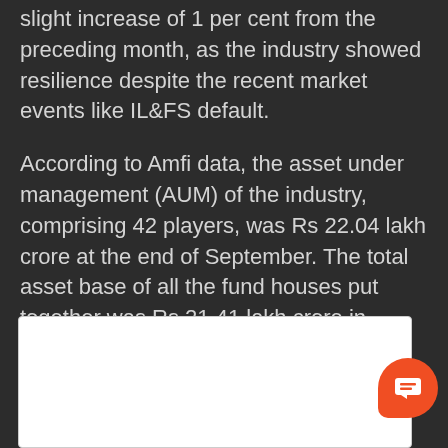slight increase of 1 per cent from the preceding month, as the industry showed resilience despite the recent market events like IL&FS default.
According to Amfi data, the asset under management (AUM) of the industry, comprising 42 players, was Rs 22.04 lakh crore at the end of September. The total asset base of all the fund houses put together was Rs 21.41 lakh crore in October last year.
[Figure (other): White bordered content box at the bottom of the page with an orange chat button overlay]